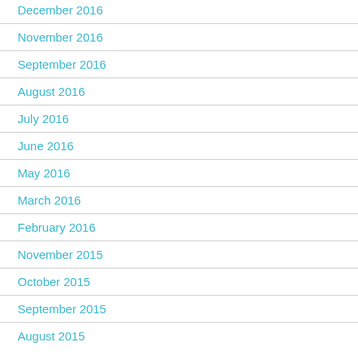December 2016
November 2016
September 2016
August 2016
July 2016
June 2016
May 2016
March 2016
February 2016
November 2015
October 2015
September 2015
August 2015